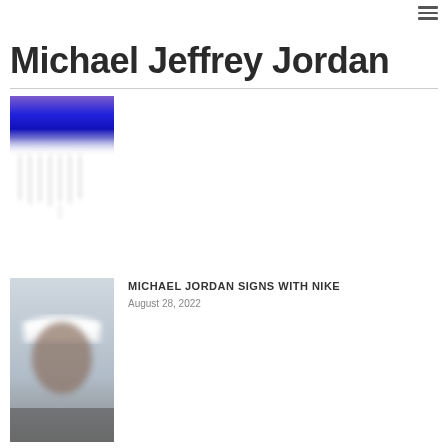≡
Michael Jeffrey Jordan
[Figure (photo): Abstract blurred image with blue and purple tones at top, fading to vertical streaks below]
[Figure (photo): Blurred photo of a person wearing a white cap or hat, partial face visible]
MICHAEL JORDAN SIGNS WITH NIKE
August 28, 2022